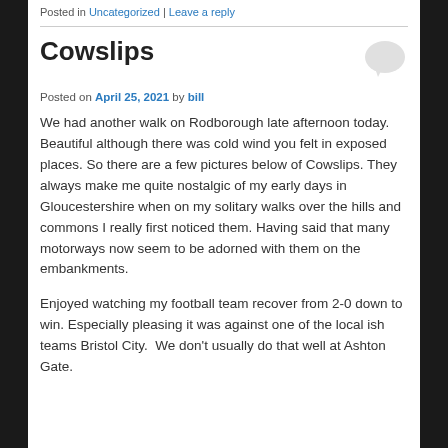Posted in Uncategorized | Leave a reply
Cowslips
Posted on April 25, 2021 by bill
We had another walk on Rodborough late afternoon today. Beautiful although there was cold wind you felt in exposed places. So there are a few pictures below of Cowslips. They always make me quite nostalgic of my early days in Gloucestershire when on my solitary walks over the hills and commons I really first noticed them. Having said that many motorways now seem to be adorned with them on the embankments.
Enjoyed watching my football team recover from 2-0 down to win. Especially pleasing it was against one of the local ish teams Bristol City.  We don't usually do that well at Ashton Gate.